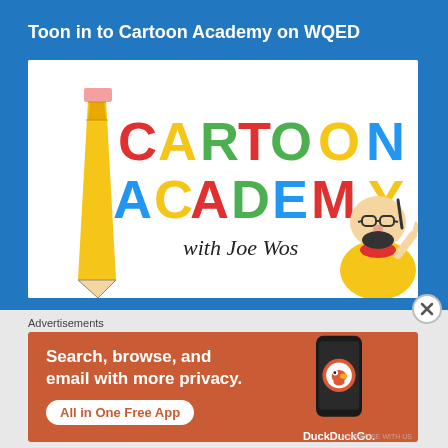Toon in to Cartoon Academy on WQED
[Figure (illustration): Cartoon Academy with Joe Wos logo — colorful block letters spelling CARTOON ACADEMY with a large pencil on the left and a cartoon bald man with glasses and beard on the right]
Advertisements
[Figure (photo): DuckDuckGo advertisement: Search, browse, and email with more privacy. All in One Free App — showing a smartphone with the DuckDuckGo app and logo]